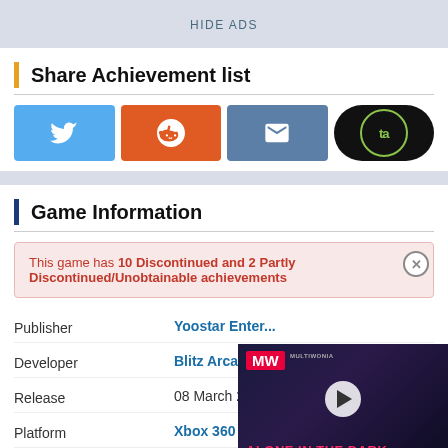HIDE ADS
Share Achievement list
[Figure (infographic): Four share buttons: Twitter (blue bird icon), Reddit (orange alien icon), Email (blue envelope icon), TrueAchievements (black TA circle logo)]
Game Information
This game has 10 Discontinued and 2 Partly Discontinued/Unobtainable achievements
| Field | Value |
| --- | --- |
| Publisher | Yoostar Enter... |
| Developer | Blitz Arcade |
| Release | 08 March 2011 |
| Platform | Xbox 360 |
| Genre | Party |
[Figure (screenshot): Video overlay thumbnail for 'Alone in the Dark Remake' with MW logo, play button, and pink/white title text on dark background]